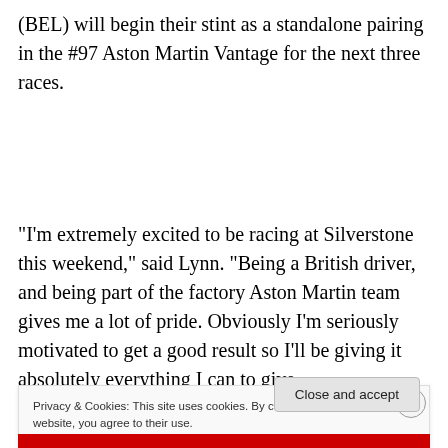(BEL) will begin their stint as a standalone pairing in the #97 Aston Martin Vantage for the next three races.
“I’m extremely excited to be racing at Silverstone this weekend,” said Lynn. “Being a British driver, and being part of the factory Aston Martin team gives me a lot of pride. Obviously I’m seriously motivated to get a good result so I’ll be giving it absolutely everything I can to give
Privacy & Cookies: This site uses cookies. By continuing to use this website, you agree to their use.
To find out more, including how to control cookies, see here: Cookie Policy
Close and accept